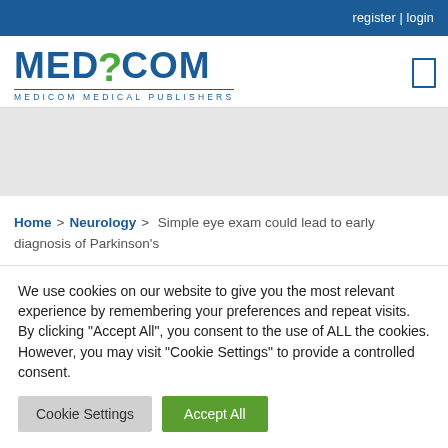register | login
[Figure (logo): Medicom Medical Publishers logo with caduceus snake icon and blue lettering]
Home > Neurology > Simple eye exam could lead to early diagnosis of Parkinson's
We use cookies on our website to give you the most relevant experience by remembering your preferences and repeat visits. By clicking "Accept All", you consent to the use of ALL the cookies. However, you may visit "Cookie Settings" to provide a controlled consent.
Cookie Settings   Accept All